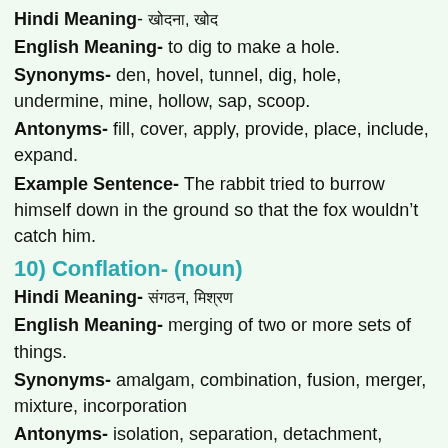Hindi Meaning- [Hindi script], [Hindi script]
English Meaning- to dig to make a hole.
Synonyms- den, hovel, tunnel, dig, hole, undermine, mine, hollow, sap, scoop.
Antonyms- fill, cover, apply, provide, place, include, expand.
Example Sentence- The rabbit tried to burrow himself down in the ground so that the fox wouldn't catch him.
10) Conflation- (noun)
Hindi Meaning- [Hindi script], [Hindi script]
English Meaning- merging of two or more sets of things.
Synonyms- amalgam, combination, fusion, merger, mixture, incorporation
Antonyms- isolation, separation, detachment, parting, disconnection
Example Sentence- The conflation of lemon and honey